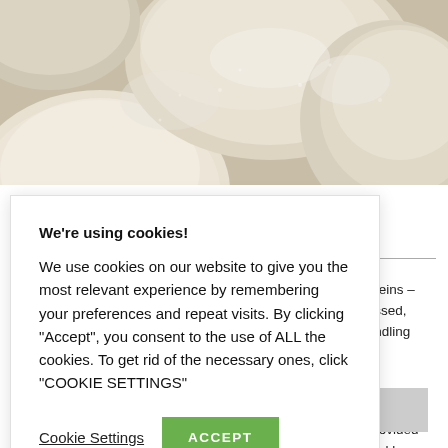[Figure (photo): Close-up photo of raw dough balls dusted with flour, showing a pale cream and beige color palette.]
rming proteins – dry processed, l other handling
ructure provided e produced by
We're using cookies!
We use cookies on our website to give you the most relevant experience by remembering your preferences and repeat visits. By clicking "Accept", you consent to the use of ALL the cookies. To get rid of the necessary ones, click "COOKIE SETTINGS"
Cookie Settings
ACCEPT
yeast cells and expand during fermentation.